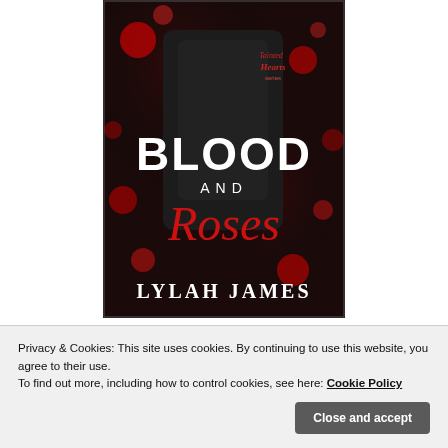[Figure (illustration): Book cover for 'Blood and Roses' by Lylah James. Dark dramatic cover showing a person in black leather jacket holding red roses with bokeh red lights. Upper right has script text 'Tainted Hearts series'. Large white text 'BLOOD AND' with red cursive 'Roses' below. Bottom reads 'LYLAH JAMES' in large white serif letters.]
AMAZON US / UK / CA / AU
Privacy & Cookies: This site uses cookies. By continuing to use this website, you agree to their use.
To find out more, including how to control cookies, see here: Cookie Policy
Close and accept